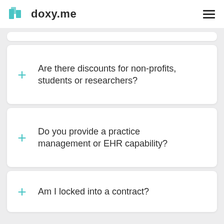doxy.me
Are there discounts for non-profits, students or researchers?
Do you provide a practice management or EHR capability?
Am I locked into a contract?